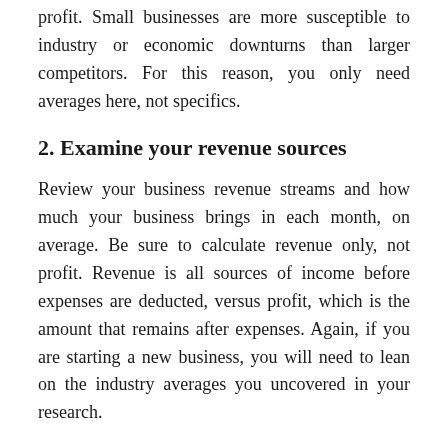profit. Small businesses are more susceptible to industry or economic downturns than larger competitors. For this reason, you only need averages here, not specifics.
2. Examine your revenue sources
Review your business revenue streams and how much your business brings in each month, on average. Be sure to calculate revenue only, not profit. Revenue is all sources of income before expenses are deducted, versus profit, which is the amount that remains after expenses. Again, if you are starting a new business, you will need to lean on the industry averages you uncovered in your research.
3. Look for seasonal patterns and plan for downturns
And this if you all are starting a new